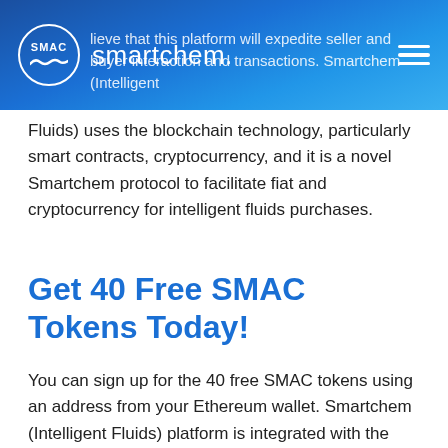smartchem.
Fluids) uses the blockchain technology, particularly smart contracts, cryptocurrency, and it is a novel Smartchem protocol to facilitate fiat and cryptocurrency for intelligent fluids purchases.
Get 40 Free SMAC Tokens Today!
You can sign up for the 40 free SMAC tokens using an address from your Ethereum wallet. Smartchem (Intelligent Fluids) platform is integrated with the most popular Wallets like Metamask, Trezor, Mist, among